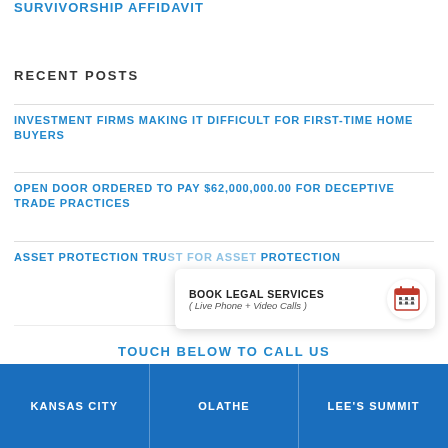SURVIVORSHIP AFFIDAVIT
RECENT POSTS
INVESTMENT FIRMS MAKING IT DIFFICULT FOR FIRST-TIME HOME BUYERS
OPEN DOOR ORDERED TO PAY $62,000,000.00 FOR DECEPTIVE TRADE PRACTICES
ASSET PROTECTION TRUST FOR ASSET PROTECTION
3 DIFFERENT TYPES OF COMMERCIAL REAL ESTATE LEASES
BOOK LEGAL SERVICES ( Live Phone + Video Calls )
TOUCH BELOW TO CALL US
KANSAS CITY   OLATHE   LEE'S SUMMIT